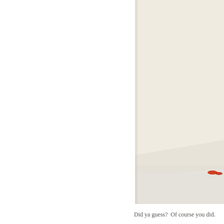[Figure (photo): A partial photograph occupying the right side of the page, showing a room with a cream/beige wall and a light-colored floor. There are small red objects visible near the bottom right of the frame. The image is cropped, showing only the right portion.]
Did ya guess?  Of course you did.